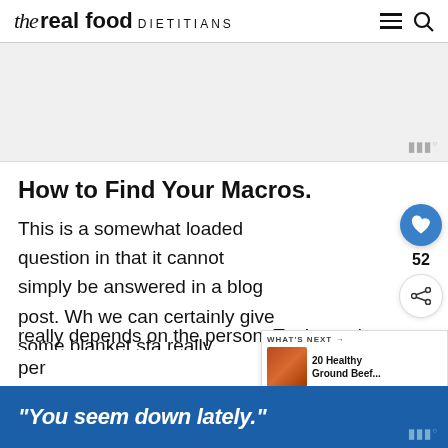the real food DIETITIANS
[Figure (other): Advertisement/image placeholder area with Moat measurement icon in bottom right]
How to Find Your Macros.
This is a somewhat loaded question in that it cannot simply be answered in a blog post. Wh we can certainly give some blanket sta really depends on the person. To determine a per real about the e data
[Figure (screenshot): Floating sidebar with heart/like button showing count 52 and share button]
[Figure (screenshot): WHAT'S NEXT widget showing '20 Healthy Ground Beef...' with thumbnail]
[Figure (other): Bottom banner advertisement with text: "You seem down lately." on blue background]